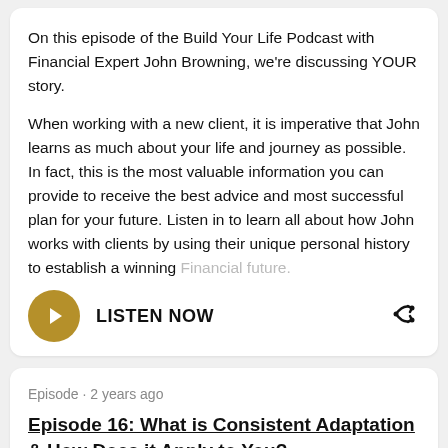On this episode of the Build Your Life Podcast with Financial Expert John Browning, we're discussing YOUR story.
When working with a new client, it is imperative that John learns as much about your life and journey as possible. In fact, this is the most valuable information you can provide to receive the best advice and most successful plan for your future. Listen in to learn all about how John works with clients by using their unique personal history to establish a winning Financial future.
LISTEN NOW
Episode · 2 years ago
Episode 16: What is Consistent Adaptation & How Does it Apply to You?
On this episode of the Build Your Life Podcast with